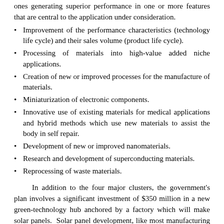ones generating superior performance in one or more features that are central to the application under consideration.
Improvement of the performance characteristics (technology life cycle) and their sales volume (product life cycle).
Processing of materials into high-value added niche applications.
Creation of new or improved processes for the manufacture of materials.
Miniaturization of electronic components.
Innovative use of existing materials for medical applications and hybrid methods which use new materials to assist the body in self repair.
Development of new or improved nanomaterials.
Research and development of superconducting materials.
Reprocessing of waste materials.
In addition to the four major clusters, the government's plan involves a significant investment of $350 million in a new green-technology hub anchored by a factory which will make solar panels. Solar panel development, like most manufacturing endeavors, typically involves significant R&D activities. Particularly, expenses incurred in connection with developing any new technique that can be employed in generating more